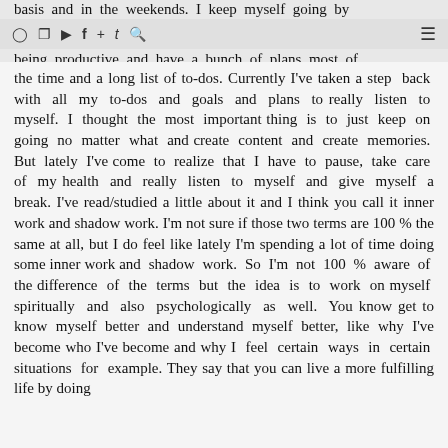basis and in the weekends. I keep myself going by being productive and have a bunch of plans most of
the time and a long list of to-dos. Currently I've taken a step back with all my to-dos and goals and plans to really listen to myself. I thought the most important thing is to just keep on going no matter what and create content and create memories. But lately I've come to realize that I have to pause, take care of my health and really listen to myself and give myself a break. I've read/studied a little about it and I think you call it inner work and shadow work. I'm not sure if those two terms are 100 % the same at all, but I do feel like lately I'm spending a lot of time doing some inner work and shadow work. So I'm not 100 % aware of the difference of the terms but the idea is to work on myself spiritually and also psychologically as well. You know get to know myself better and understand myself better, like why I've become who I've become and why I feel certain ways in certain situations for example. They say that you can live a more fulfilling life by doing